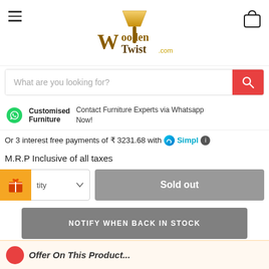[Figure (logo): WoodenTwist.com logo with lamp and twisted wood stand]
What are you looking for?
Customised Furniture — Contact Furniture Experts via Whatsapp Now!
Or 3 interest free payments of ₹ 3231.68 with Simpl ℹ
M.R.P Inclusive of all taxes
Sold out
NOTIFY WHEN BACK IN STOCK
Offer On This Product...